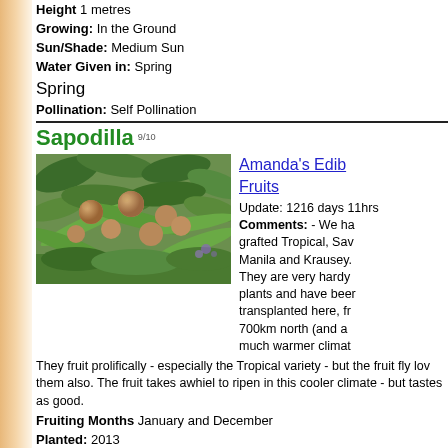Height 1 metres
Growing: In the Ground
Sun/Shade: Medium Sun
Water Given in: Spring
Spring
Pollination: Self Pollination
Sapodilla 9/10
[Figure (photo): Photo of Sapodilla tree with ripe brown fruits hanging among green leaves]
Amanda's Edib Fruits
Update: 1216 days 11hrs
Comments: - We ha grafted Tropical, Sav Manila and Krausey. They are very hardy plants and have beer transplanted here, fr 700km north (and a much warmer climat
They fruit prolifically - especially the Tropical variety - but the fruit fly lov them also. The fruit takes awhiel to ripen in this cooler climate - but tastes as good.
Fruiting Months January and December
Planted: 2013
Height 2.5 metres
Growing: In the Ground
Qty: 3
First Fruited: 4 Years from purchase in pot